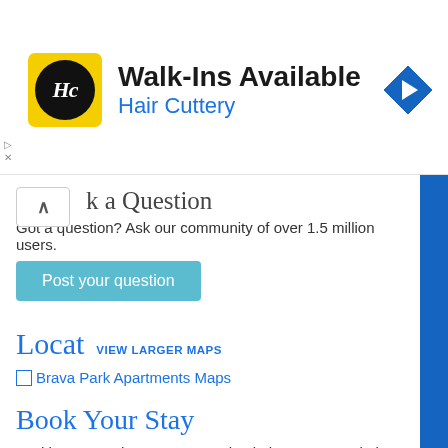[Figure (infographic): Hair Cuttery advertisement banner: yellow square logo with HC initials, 'Walk-Ins Available' heading, 'Hair Cuttery' subtitle in blue, navigation arrow icon on right. Ad controls (play and close) on left.]
Ask a Question
Got a question? Ask our community of over 1.5 million users.
Post your question
Locat VIEW LARGER MAPS
Brava Park Apartments Maps
Book Your Stay
Looking to stay here? You can check the accommodation availability and get the best prices using the link below:
[Figure (infographic): hotholidays.co.uk orange banner advertisement with logo, tagline 'Heat up your summer' and 'BOOK NOW' button]